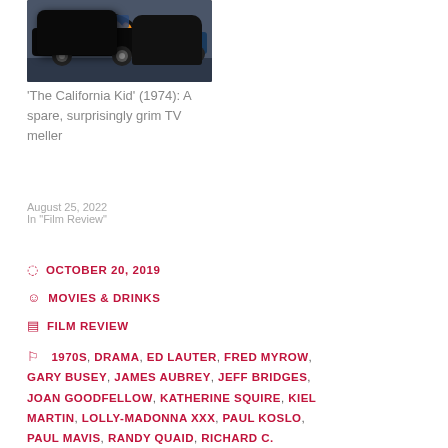[Figure (photo): Black hot rod car with flame paint job on the hood, photographed outdoors with another car visible in the background]
'The California Kid' (1974): A spare, surprisingly grim TV meller
August 25, 2022
In "Film Review"
OCTOBER 20, 2019
MOVIES & DRINKS
FILM REVIEW
1970S, DRAMA, ED LAUTER, FRED MYROW, GARY BUSEY, JAMES AUBREY, JEFF BRIDGES, JOAN GOODFELLOW, KATHERINE SQUIRE, KIEL MARTIN, LOLLY-MADONNA XXX, PAUL KOSLO, PAUL MAVIS, RANDY QUAID, RICHARD C.